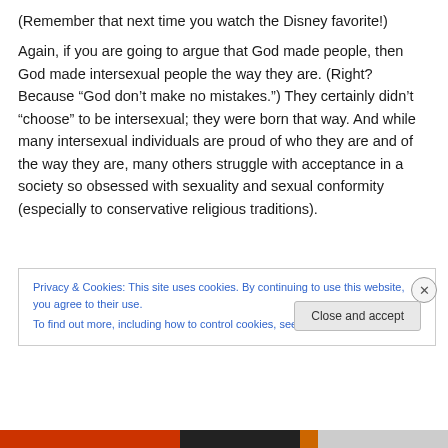(Remember that next time you watch the Disney favorite!)
Again, if you are going to argue that God made people, then God made intersexual people the way they are. (Right? Because “God don’t make no mistakes.”) They certainly didn’t “choose” to be intersexual; they were born that way. And while many intersexual individuals are proud of who they are and of the way they are, many others struggle with acceptance in a society so obsessed with sexuality and sexual conformity (especially to conservative religious traditions).
Privacy & Cookies: This site uses cookies. By continuing to use this website, you agree to their use.
To find out more, including how to control cookies, see here: Cookie Policy